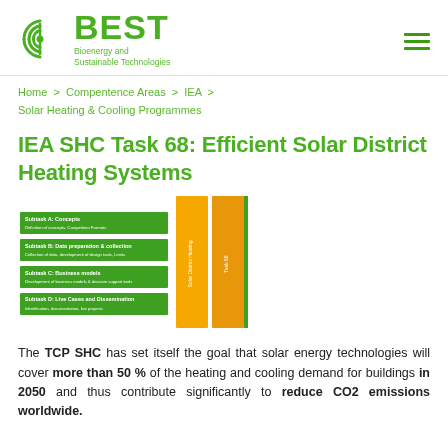BEST Bioenergy and Sustainable Technologies
Home > Compentence Areas > IEA > Solar Heating & Cooling Programmes
IEA SHC Task 68: Efficient Solar District Heating Systems
[Figure (infographic): Diagram showing task structure with green horizontal bars labeled Subtask A-D on the left and two tall yellow/orange vertical bars on the right, representing solar district heating systems subtasks.]
The TCP SHC has set itself the goal that solar energy technologies will cover more than 50 % of the heating and cooling demand for buildings in 2050 and thus contribute significantly to reduce CO2 emissions worldwide.